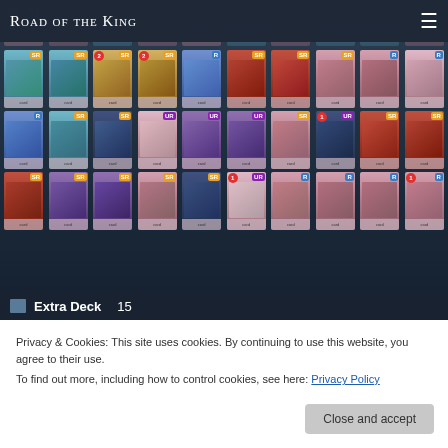Road of the King
[Figure (screenshot): Yu-Gi-Oh Duel Links deck builder showing a grid of trading cards in rows. Cards are labeled with rarity badges (SR, R, UR) in orange, blue, and purple. Some cards have red count badges showing '2' or '1'. The cards show various monster and spell/trap card artwork in pink, teal, gold, purple, and other colors. Multiple rows of approximately 10 cards each are visible.]
Extra Deck   15
Privacy & Cookies: This site uses cookies. By continuing to use this website, you agree to their use.
To find out more, including how to control cookies, see here: Privacy Policy
Close and accept